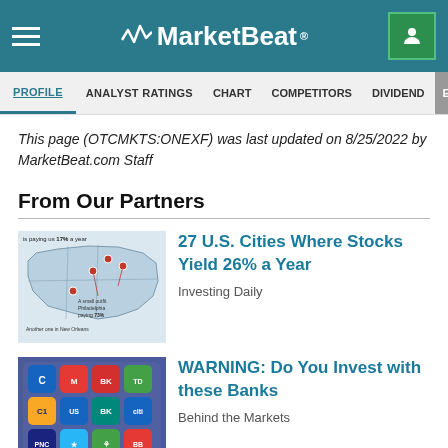MarketBeat
PROFILE | ANALYST RATINGS | CHART | COMPETITORS | DIVIDEND | EARNINGS
This page (OTCMKTS:ONEXF) was last updated on 8/25/2022 by MarketBeat.com Staff
From Our Partners
[Figure (map): Map of U.S. cities with annotations about dividend yields including '17% a year', 'A small outfit Philadelphia paying 73%', 'Another one in New Orleans']
27 U.S. Cities Where Stocks Yield 26% a Year
Investing Daily
[Figure (photo): Close-up photo of a smartphone screen showing banking app icons including Chase, Capital One, U.S. Bank, Citi, PNC, and others]
WARNING: Do You Invest with these Banks
Behind the Markets